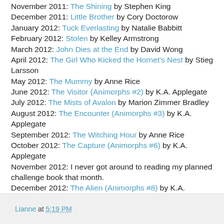November 2011: The Shining by Stephen King
December 2011: Little Brother by Cory Doctorow
January 2012: Tuck Everlasting by Natalie Babbitt
February 2012: Stolen by Kelley Armstrong
March 2012: John Dies at the End by David Wong
April 2012: The Girl Who Kicked the Hornet's Nest by Stieg Larsson
May 2012: The Mummy by Anne Rice
June 2012: The Visitor (Animorphs #2) by K.A. Applegate
July 2012: The Mists of Avalon by Marion Zimmer Bradley
August 2012: The Encounter (Animorphs #3) by K.A. Applegate
September 2012: The Witching Hour by Anne Rice
October 2012: The Capture (Animorphs #6) by K.A. Applegate
November 2012: I never got around to reading my planned challenge book that month.
December 2012: The Alien (Animorphs #8) by K.A. Applegate
Lianne at 5:19 PM